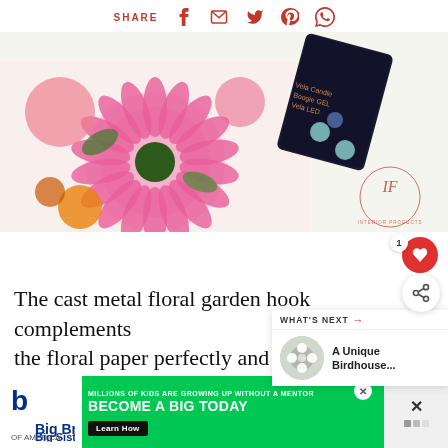SHARE [facebook] [email] [twitter] [pinterest] [whatsapp]
[Figure (photo): Floral fabric or paper with pink chrysanthemum/dahlia print and a dark product tag visible in corner. Interior Products brand watermark visible.]
The cast metal floral garden hook complements the floral paper perfectly and we'll be making even more perfect further down in th...
[Figure (infographic): What's Next panel: thumbnail image of white flowers, label 'WHAT'S NEXT' with red arrow, text 'A Unique Birdhouse...']
[Figure (infographic): Big Brothers Big Sisters advertisement banner: 'MILLIONS OF KIDS ARE GROWING UP WITHOUT A MENTOR. BECOME A BIG TODAY' with Learn How button on green background.]